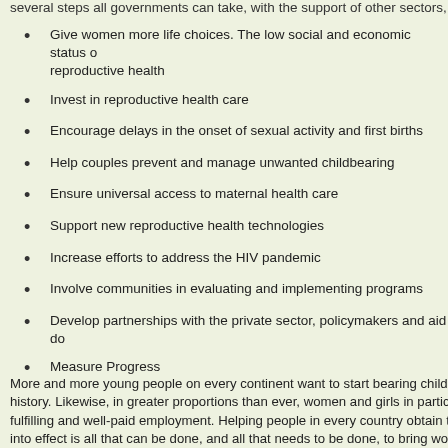several steps all governments can take, with the support of other sectors, to
Give women more life choices. The low social and economic status o... reproductive health
Invest in reproductive health care
Encourage delays in the onset of sexual activity and first births
Help couples prevent and manage unwanted childbearing
Ensure universal access to maternal health care
Support new reproductive health technologies
Increase efforts to address the HIV pandemic
Involve communities in evaluating and implementing programs
Develop partnerships with the private sector, policymakers and aid do...
Measure Progress
More and more young people on every continent want to start bearing children later history. Likewise, in greater proportions than ever, women and girls in particular wa... fulfilling and well-paid employment. Helping people in every country obtain the inf... into effect is all that can be done, and all that needs to be done, to bring world popu...